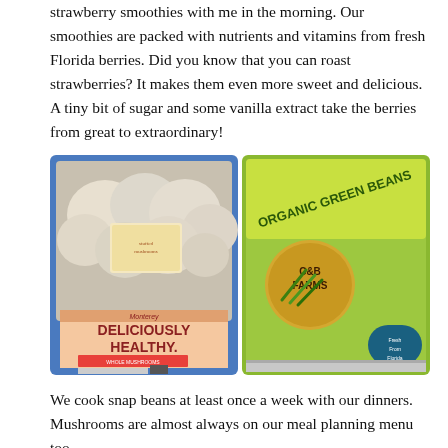strawberry smoothies with me in the morning. Our smoothies are packed with nutrients and vitamins from fresh Florida berries. Did you know that you can roast strawberries? It makes them even more sweet and delicious. A tiny bit of sugar and some vanilla extract take the berries from great to extraordinary!
[Figure (photo): Two grocery store product photos side by side: left shows a blue tray of Monterey whole mushrooms labeled 'Deliciously Healthy' with a QR code; right shows a green bag of C&B Farms Organic Green Beans.]
We cook snap beans at least once a week with our dinners. Mushrooms are almost always on our meal planning menu too.